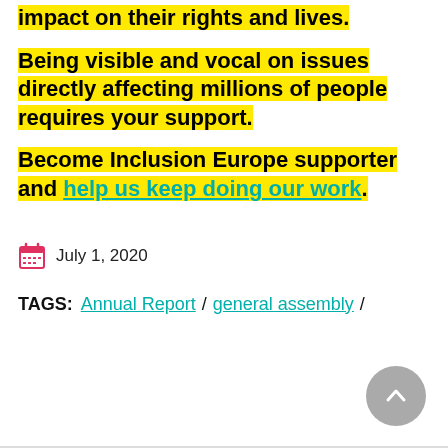impact on their rights and lives.
Being visible and vocal on issues directly affecting millions of people requires your support.
Become Inclusion Europe supporter and help us keep doing our work.
July 1, 2020
TAGS: Annual Report / general assembly /